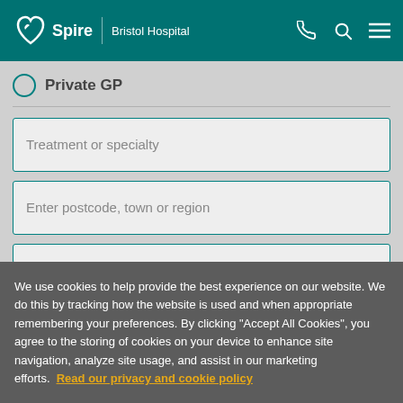Spire | Bristol Hospital
Private GP
Treatment or specialty
Enter postcode, town or region
We use cookies to help provide the best experience on our website. We do this by tracking how the website is used and when appropriate remembering your preferences. By clicking "Accept All Cookies", you agree to the storing of cookies on your device to enhance site navigation, analyze site usage, and assist in our marketing efforts.  Read our privacy and cookie policy